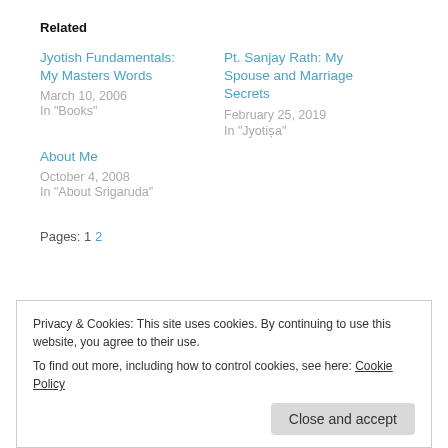Related
Jyotish Fundamentals: My Masters Words
March 10, 2006
In "Books"
Pt. Sanjay Rath: My Spouse and Marriage Secrets
February 25, 2019
In "Jyotiṣa"
About Me
October 4, 2008
In "About Srigaruda"
Pages: 1 2
Privacy & Cookies: This site uses cookies. By continuing to use this website, you agree to their use.
To find out more, including how to control cookies, see here: Cookie Policy
Close and accept